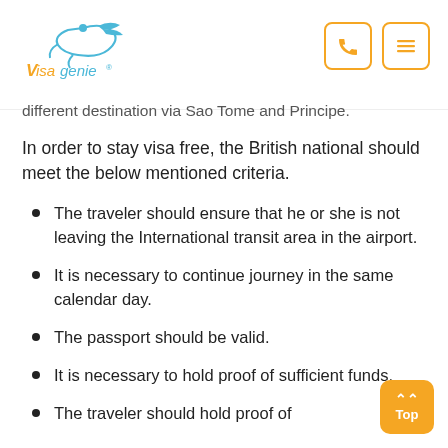Visa Genie
different destination via Sao Tome and Principe.
In order to stay visa free, the British national should meet the below mentioned criteria.
The traveler should ensure that he or she is not leaving the International transit area in the airport.
It is necessary to continue journey in the same calendar day.
The passport should be valid.
It is necessary to hold proof of sufficient funds.
The traveler should hold proof of